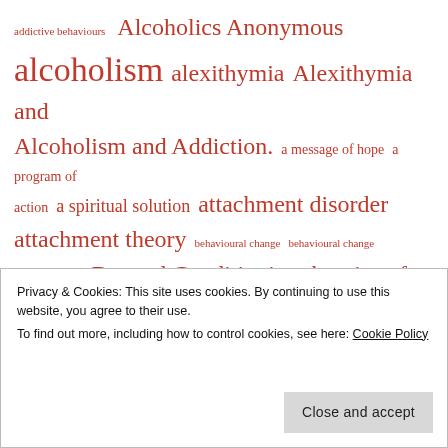[Figure (other): Tag cloud / word cloud of addiction and alcoholism related terms in various font sizes, rendered in red/crimson color. Terms include: addictive behaviours, Alcoholics Anonymous, alcoholism, alexithymia, Alexithymia and Alcoholism and Addiction, a message of hope, a program of action, a spiritual solution, attachment disorder, attachment theory, behavioural change, behavioural change via recovery, Beyond Conditioning theories of Craving and Relapse, biomarkers of risk for alcoholism, childhood maltreatment, Children of alcoholics, co-morbidity, co-morbidties, cognitive distortions, commonalities in addictions, Complex PTSD, Craving, Decision Making Deficits, Distress-based impulsivity, eating disorders, EMDR]
Privacy & Cookies: This site uses cookies. By continuing to use this website, you agree to their use. To find out more, including how to control cookies, see here: Cookie Policy
Close and accept